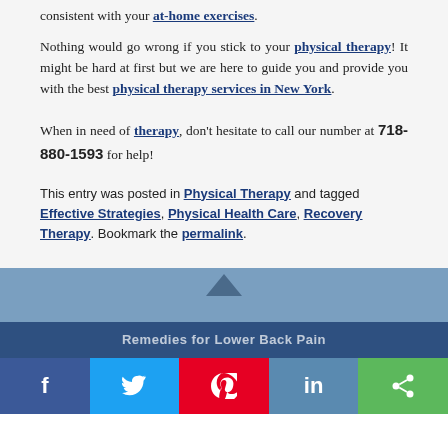consistent with your at-home exercises.
Nothing would go wrong if you stick to your physical therapy! It might be hard at first but we are here to guide you and provide you with the best physical therapy services in New York.
When in need of therapy, don't hesitate to call our number at 718-880-1593 for help!
This entry was posted in Physical Therapy and tagged Effective Strategies, Physical Health Care, Recovery Therapy. Bookmark the permalink.
[Figure (infographic): Blue footer section with upward-pointing triangle arrow, navigation bar with 'Remedies for Lower Back Pain' text partially visible, and social sharing buttons for Facebook, Twitter, Pinterest, LinkedIn, and share.]